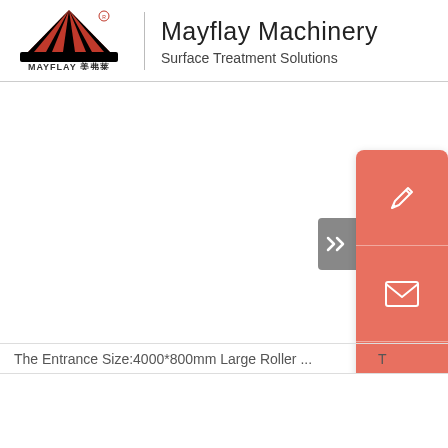[Figure (logo): Mayflay Machinery logo: red and black fan/mountain shape with text MAYFLAY and Chinese characters 美弗莱 below]
Mayflay Machinery
Surface Treatment Solutions
[Figure (infographic): UI widget panel with three salmon/orange buttons (pencil/edit icon, envelope/mail icon, up-arrow icon) and a gray collapsed tab with double-chevron arrows]
The Entrance Size:4000*800mm Large Roller ...  T